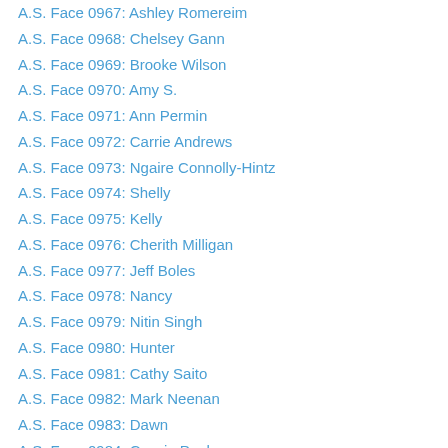A.S. Face 0967: Ashley Romereim
A.S. Face 0968: Chelsey Gann
A.S. Face 0969: Brooke Wilson
A.S. Face 0970: Amy S.
A.S. Face 0971: Ann Permin
A.S. Face 0972: Carrie Andrews
A.S. Face 0973: Ngaire Connolly-Hintz
A.S. Face 0974: Shelly
A.S. Face 0975: Kelly
A.S. Face 0976: Cherith Milligan
A.S. Face 0977: Jeff Boles
A.S. Face 0978: Nancy
A.S. Face 0979: Nitin Singh
A.S. Face 0980: Hunter
A.S. Face 0981: Cathy Saito
A.S. Face 0982: Mark Neenan
A.S. Face 0983: Dawn
A.S. Face 0984: Cassie Pugh
A.S. Face 0985: Gillian
A.S. Face 0986: Aidan